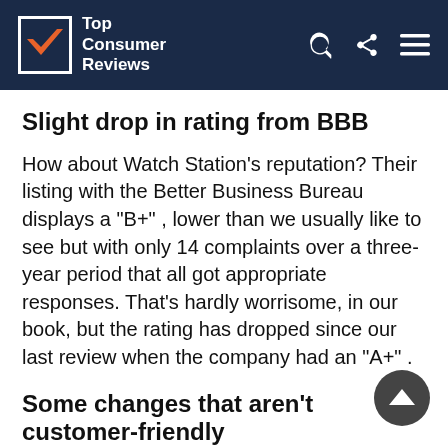Top Consumer Reviews
Slight drop in rating from BBB
How about Watch Station's reputation? Their listing with the Better Business Bureau displays a "B+" , lower than we usually like to see but with only 14 complaints over a three-year period that all got appropriate responses. That's hardly worrisome, in our book, but the rating has dropped since our last review when the company had an "A+" .
Some changes that aren't customer-friendly
There are a few additional changes we spotted, compared with our last review of Watch Station. On a positive note, online purchases can now be returned to a retail location near you; just bring your